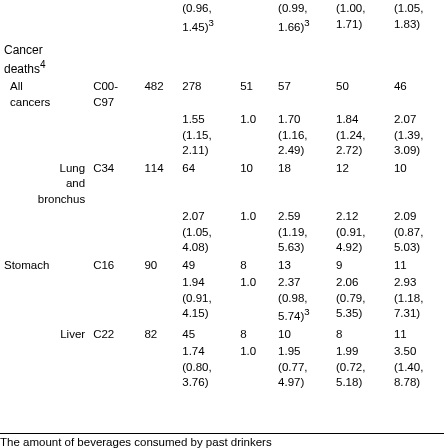| Cancer type | ICD | N | Q1 | Q2 | Q3 | Q4 | Q5 |
| --- | --- | --- | --- | --- | --- | --- | --- |
|  |  |  | (0.96, 1.45)3 |  | (0.99, 1.66)3 | (1.00, 1.71) | (1.05, 1.83) |
| Cancer deaths4 |  |  |  |  |  |  |  |
| All cancers | C00-C97 | 482 | 278 | 51 | 57 | 50 | 46 |
|  |  |  | 1.55 (1.15, 2.11) | 1.0 | 1.70 (1.16, 2.49) | 1.84 (1.24, 2.72) | 2.07 (1.39, 3.09) |
| Lung and bronchus | C34 | 114 | 64 | 10 | 18 | 12 | 10 |
|  |  |  | 2.07 (1.05, 4.08) | 1.0 | 2.59 (1.19, 5.63) | 2.12 (0.91, 4.92) | 2.09 (0.87, 5.03) |
| Stomach | C16 | 90 | 49 | 8 | 13 | 9 | 11 |
|  |  |  | 1.94 (0.91, 4.15) | 1.0 | 2.37 (0.98, 5.74)3 | 2.06 (0.79, 5.35) | 2.93 (1.18, 7.31) |
| Liver | C22 | 82 | 45 | 8 | 10 | 8 | 11 |
|  |  |  | 1.74 (0.80, 3.76) | 1.0 | 1.95 (0.77, 4.97) | 1.99 (0.72, 5.18) | 3.50 (1.40, 8.78) |
The amount of beverages consumed by past drinkers